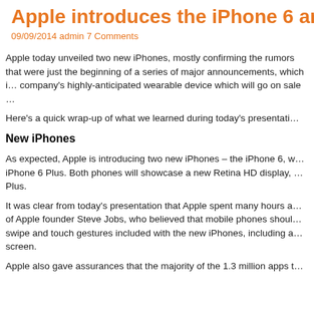Apple introduces the iPhone 6 and…
09/09/2014 admin 7 Comments
Apple today unveiled two new iPhones, mostly confirming the rumors that were just the beginning of a series of major announcements, which i… company's highly-anticipated wearable device which will go on sale …
Here's a quick wrap-up of what we learned during today's presentati…
New iPhones
As expected, Apple is introducing two new iPhones – the iPhone 6, w… iPhone 6 Plus. Both phones will showcase a new Retina HD display, … Plus.
It was clear from today's presentation that Apple spent many hours a… of Apple founder Steve Jobs, who believed that mobile phones shoul… swipe and touch gestures included with the new iPhones, including a… screen.
Apple also gave assurances that the majority of the 1.3 million apps t…